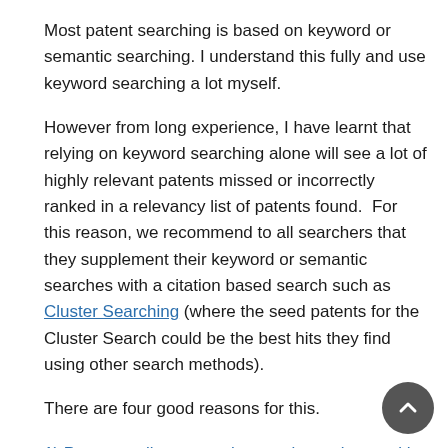Most patent searching is based on keyword or semantic searching. I understand this fully and use keyword searching a lot myself.
However from long experience, I have learnt that relying on keyword searching alone will see a lot of highly relevant patents missed or incorrectly ranked in a relevancy list of patents found. For this reason, we recommend to all searchers that they supplement their keyword or semantic searches with a citation based search such as Cluster Searching (where the seed patents for the Cluster Search could be the best hits they find using other search methods).
There are four good reasons for this.
1) Patent applicants can be very inconsistent with their use of technical words.